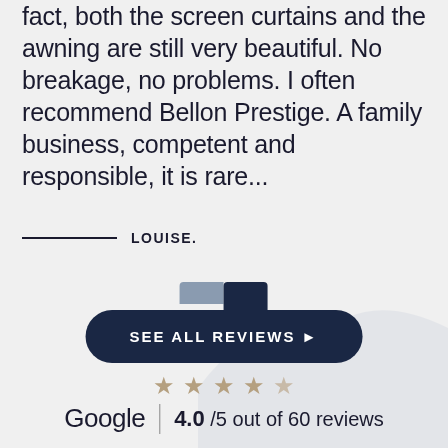fact, both the screen curtains and the awning are still very beautiful. No breakage, no problems. I often recommend Bellon Prestige. A family business, competent and responsible, it is rare...
LOUISE.
SEE ALL REVIEWS →
[Figure (infographic): 5 star rating icons (4 filled, 1 empty/faded) displayed horizontally]
Google | 4.0 /5 out of 60 reviews